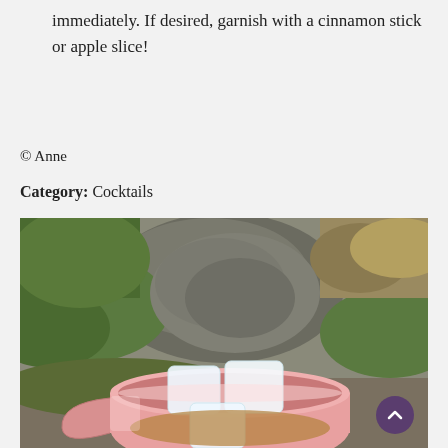immediately. If desired, garnish with a cinnamon stick or apple slice!
© Anne
Category: Cocktails
[Figure (photo): A pink copper mug filled with ice cubes and a cocktail drink, photographed outdoors on the ground with green grass and rocks in the background.]